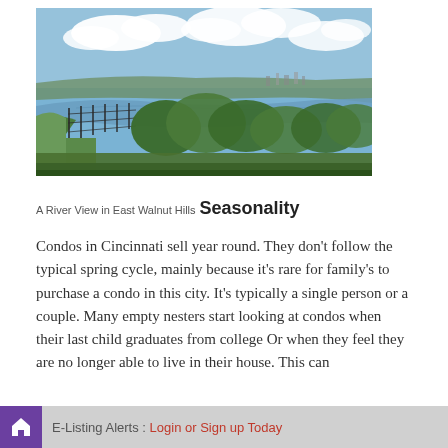[Figure (photo): Aerial/elevated view of a river bend with green hills, trees, fencing in foreground, cloudy blue sky, city visible in distance — A River View in East Walnut Hills]
A River View in East Walnut Hills
Seasonality
Condos in Cincinnati sell year round.  They don’t follow the typical spring cycle, mainly because it’s rare for family’s to purchase a condo in this city.  It’s typically a single person or a couple.  Many empty nesters start looking at condos when their last child graduates from college Or when  they feel they are no longer able to live in their house.  This can
E-Listing Alerts : Login or Sign up Today